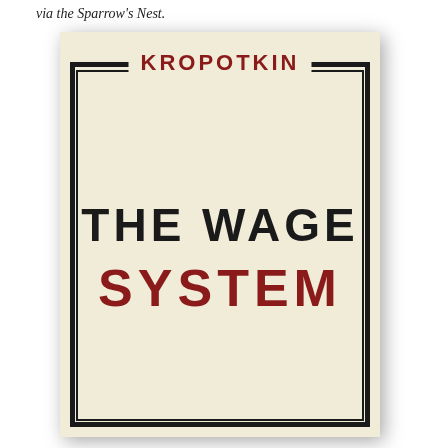via the Sparrow's Nest.
[Figure (photo): Book cover of 'The Wage System' by Kropotkin. Cream/beige colored cover with thick black double border. Author name 'KROPOTKIN' in red bold uppercase letters at top center. Title 'THE WAGE' in large black bold uppercase letters and 'SYSTEM' in large red bold uppercase letters centered on the cover.]